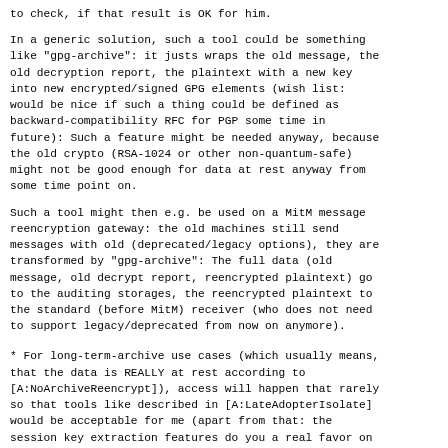to check, if that result is OK for him.
In a generic solution, such a tool could be something like "gpg-archive": it justs wraps the old message, the old decryption report, the plaintext with a new key into new encrypted/signed GPG elements (wish list: would be nice if such a thing could be defined as backward-compatibility RFC for PGP some time in future): Such a feature might be needed anyway, because the old crypto (RSA-1024 or other non-quantum-safe) might not be good enough for data at rest anyway from some time point on.
Such a tool might then e.g. be used on a MitM message reencryption gateway: the old machines still send messages with old (deprecated/legacy options), they are transformed by "gpg-archive": The full data (old message, old decrypt report, reencrypted plaintext) go to the auditing storages, the reencrypted plaintext to the standard (before MitM) receiver (who does not need to support legacy/deprecated from now on anymore).
* For long-term-archive use cases (which usually means, that the data is REALLY at rest according to [A:NoArchiveReencrypt]), access will happen that rarely so that tools like described in [A:LateAdopterIsolate] would be acceptable for me (apart from that: the session key extraction features do you a real favor on large data streaming here, boosting performance multiple orders of magnitude. Thanks for that!). If